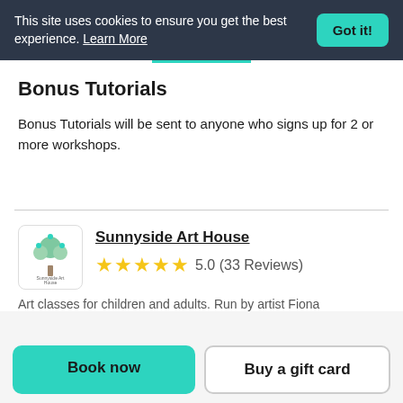This site uses cookies to ensure you get the best experience. Learn More  Got it!
Bonus Tutorials
Bonus Tutorials will be sent to anyone who signs up for 2 or more workshops.
[Figure (logo): Sunnyside Art House logo — stylized tree illustration with 'Sunnyside Art House' text below]
Sunnyside Art House
★★★★★ 5.0 (33 Reviews)
Art classes for children and adults. Run by artist Fiona
Book now   Buy a gift card